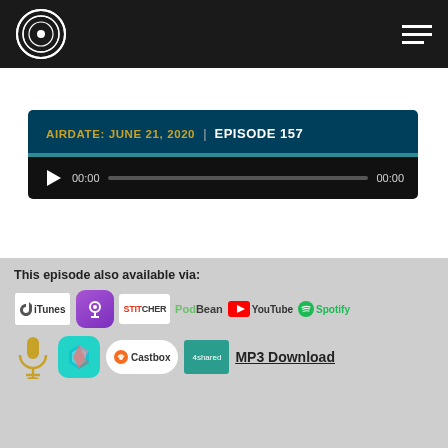Podcast website header with logo and hamburger menu
AIRDATE: JUNE 21, 2020  /  EPISODE 157
[Figure (screenshot): Audio player bar with play button, time 00:00, progress bar, end time 00:00]
This episode also available via:
[Figure (logo): Platform logos: iTunes, Podcasts, Stitcher, PodBean, YouTube, Spotify, microphone icon, crystal/gem app, Castbox, 4shared/iTunes, MP3 Download]